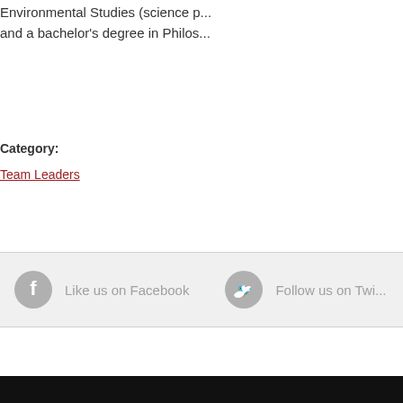Environmental Studies (science p… and a bachelor's degree in Philos…
Category:
Team Leaders
Like us on Facebook
Follow us on Twi…
ABOUT
PEOPLE
BOARD OF VISITORS
NETWORK
PRESS KIT
CNS-ASU NEWS